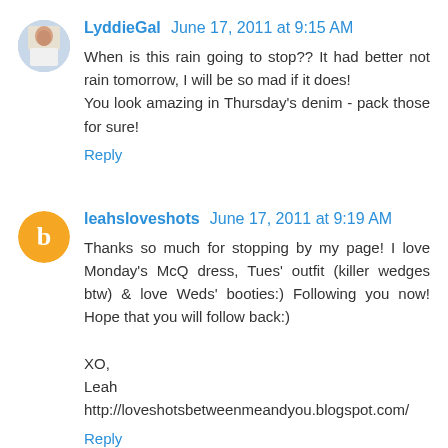LyddieGal  June 17, 2011 at 9:15 AM
When is this rain going to stop?? It had better not rain tomorrow, I will be so mad if it does!
You look amazing in Thursday's denim - pack those for sure!
Reply
leahsloveshots  June 17, 2011 at 9:19 AM
Thanks so much for stopping by my page! I love Monday's McQ dress, Tues' outfit (killer wedges btw) & love Weds' booties:) Following you now! Hope that you will follow back:)

XO,
Leah
http://loveshotsbetweenmeandyou.blogspot.com/
Reply